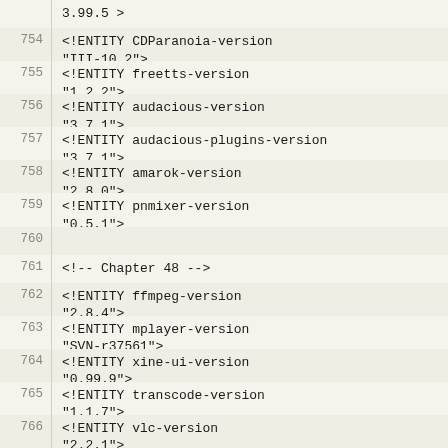3.99.5 >
754  <!ENTITY CDParanoia-version "III-10.2">
755  <!ENTITY freetts-version "1.2.2">
756  <!ENTITY audacious-version "3.7.1">
757  <!ENTITY audacious-plugins-version "3.7.1">
758  <!ENTITY amarok-version "2.8.0">
759  <!ENTITY pnmixer-version "0.5.1">
760
761  <!-- Chapter 48 -->
762  <!ENTITY ffmpeg-version "2.8.4">
763  <!ENTITY mplayer-version "SVN-r37561">
764  <!ENTITY xine-ui-version "0.99.9">
765  <!ENTITY transcode-version "1.1.7">
766  <!ENTITY vlc-version "2.2.1">